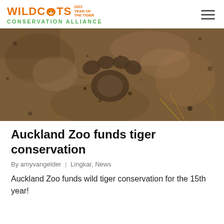WILDCATS CONSERVATION ALLIANCE — 2022 YEAR OF THE TIGER
[Figure (photo): Close-up photograph of a large cat paw print pressed into muddy ground with grass and debris.]
Auckland Zoo funds tiger conservation
By amyvangelder | Lingkar, News
Auckland Zoo funds wild tiger conservation for the 15th year!